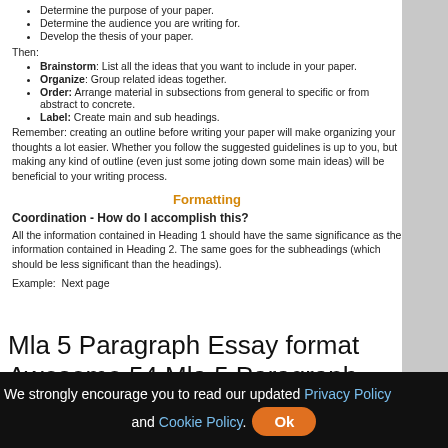Determine the purpose of your paper.
Determine the audience you are writing for.
Develop the thesis of your paper.
Then:
Brainstorm: List all the ideas that you want to include in your paper.
Organize: Group related ideas together.
Order: Arrange material in subsections from general to specific or from abstract to concrete.
Label: Create main and sub headings.
Remember: creating an outline before writing your paper will make organizing your thoughts a lot easier. Whether you follow the suggested guidelines is up to you, but making any kind of outline (even just some jotting down some main ideas) will be beneficial to your writing process.
Formatting
Coordination - How do I accomplish this?
All the information contained in Heading 1 should have the same significance as the information contained in Heading 2. The same goes for the subheadings (which should be less significant than the headings).
Example:  Next page
Mla 5 Paragraph Essay format Awesome 54 Mla 5 Paragraph
[Figure (illustration): Green background image area, partial view of a document]
We strongly encourage you to read our updated Privacy Policy and Cookie Policy.  Ok